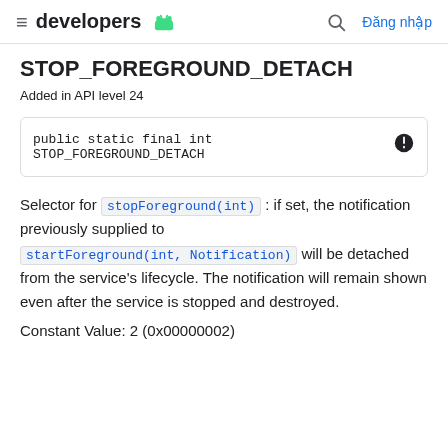developers | Đăng nhập
STOP_FOREGROUND_DETACH
Added in API level 24
public static final int STOP_FOREGROUND_DETACH
Selector for stopForeground(int): if set, the notification previously supplied to startForeground(int, Notification) will be detached from the service's lifecycle. The notification will remain shown even after the service is stopped and destroyed.
Constant Value: 2 (0x00000002)